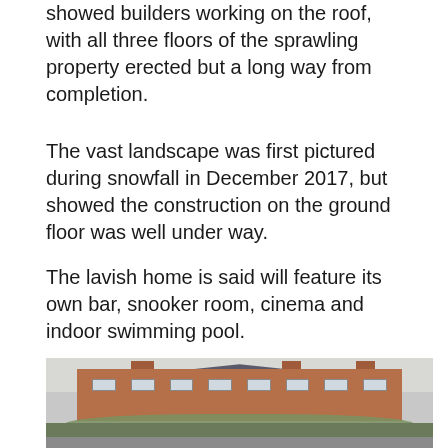showed builders working on the roof, with all three floors of the sprawling property erected but a long way from completion.
The vast landscape was first pictured during snowfall in December 2017, but showed the construction on the ground floor was well under way.
The lavish home is said will feature its own bar, snooker room, cinema and indoor swimming pool.
[Figure (photo): Exterior photograph of a large red-brick three-storey manor house under construction, with multiple chimneys, rows of windows, and trees in the foreground. Vehicles are visible in the car park area.]